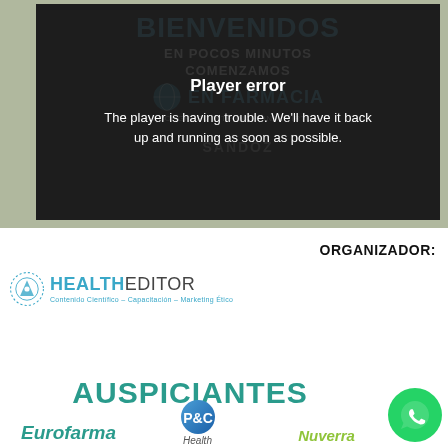[Figure (screenshot): Video player showing a medical congress event page for 'BIENVENIDOS EN POCOS MINUTOS COMENZAMOS - EN FARMACIA I CONGRESO INTERNACIONAL VIRTUAL - SANDOZ' with a player error overlay]
Player error
The player is having trouble. We'll have it back up and running as soon as possible.
ORGANIZADOR:
[Figure (logo): Health Editor logo with circular dotted icon and text 'HEALTH EDITOR - Contenido Científico - Capacitación - Marketing Ético']
AUSPICIANTES
[Figure (logo): WhatsApp green circular button icon]
[Figure (logo): Eurofarma logo in teal italic text]
[Figure (logo): P&G Health logo with blue circle and 'Health' text]
[Figure (logo): Nuverra/Nuvectra logo in green italic text]